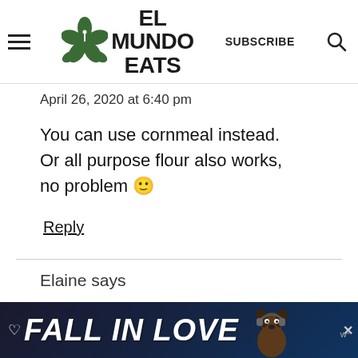EL MUNDO EATS - SUBSCRIBE
April 26, 2020 at 6:40 pm
You can use cornmeal instead. Or all purpose flour also works, no problem 🙂
Reply
Elaine says
[Figure (illustration): Fall In Love advertisement banner with dog image at bottom of page]